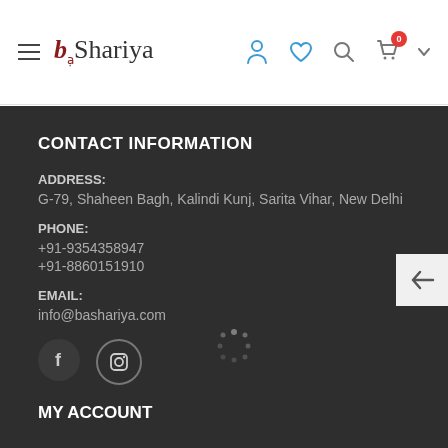[Figure (logo): BaShariya website logo with hamburger menu and navigation icons (user, heart, search, cart with badge '0', dropdown arrow)]
CONTACT INFORMATION
ADDRESS:
G-79, Shaheen Bagh, Kalindi Kunj, Sarita Vihar, New Delhi
PHONE:
+91-9354358947
+91-8860151910
EMAIL:
info@bashariya.com
[Figure (illustration): Social media icons: Facebook (f) and Instagram circle icons on dark background]
MY ACCOUNT